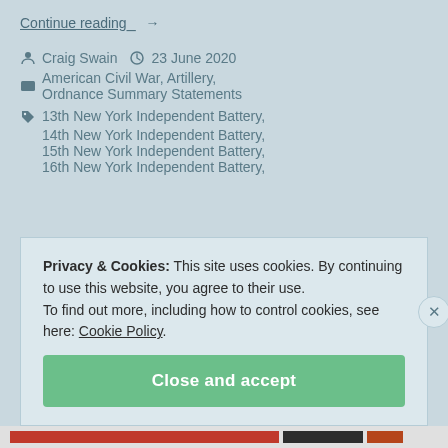Continue reading →
Craig Swain  23 June 2020
American Civil War, Artillery, Ordnance Summary Statements
13th New York Independent Battery,
14th New York Independent Battery,
15th New York Independent Battery,
16th New York Independent Battery,
Privacy & Cookies: This site uses cookies. By continuing to use this website, you agree to their use. To find out more, including how to control cookies, see here: Cookie Policy.
Close and accept